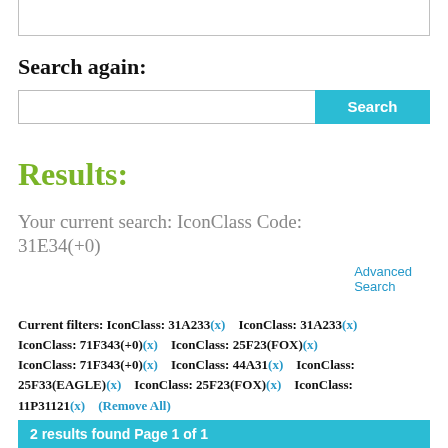Search again:
Search [input box] [Search button]
Advanced Search
Results:
Your current search: IconClass Code: 31E34(+0)
Current filters: IconClass: 31A233(x)   IconClass: 31A233(x)  IconClass: 71F343(+0)(x)   IconClass: 25F23(FOX)(x)  IconClass: 71F343(+0)(x)   IconClass: 44A31(x)   IconClass: 25F33(EAGLE)(x)   IconClass: 25F23(FOX)(x)   IconClass: 11P31121(x)   (Remove All)
2 results found Page 1 of 1